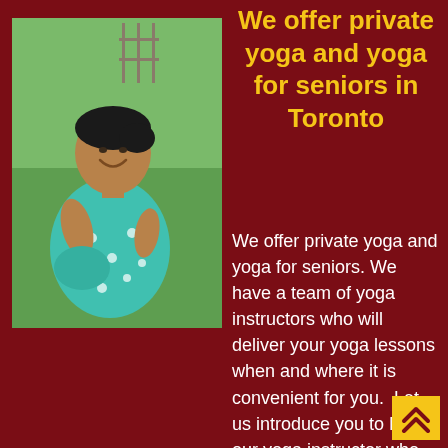[Figure (photo): A woman in a teal/turquoise polka-dot dress sitting outdoors on grass, smiling, with a green field and structure in the background.]
We offer private yoga and yoga for seniors in Toronto
We offer private yoga and yoga for seniors. We have a team of yoga instructors who will deliver your yoga lessons when and where it is convenient for you.  Let us introduce you to Mila our yoga instructor who can teach yoga at your home and yoga to